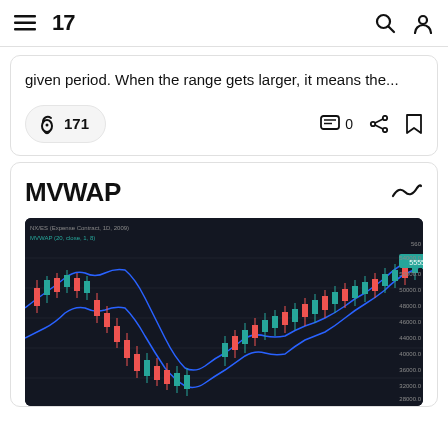TradingView navigation header with menu, logo, search and user icons
given period. When the range gets larger, it means the...
🚀 171   💬 0   share   bookmark
MVWAP
[Figure (screenshot): TradingView candlestick chart showing MVWAP indicator overlaid on price chart with dark background, displaying price movements with blue envelope bands and candlestick data]